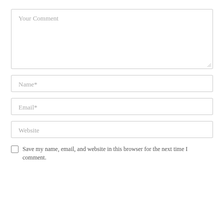Your Comment
Name*
Email*
Website
Save my name, email, and website in this browser for the next time I comment.